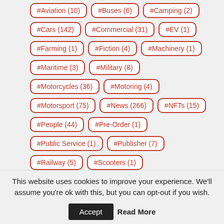#Aviation (10)
#Buses (6)
#Camping (2)
#Cars (142)
#Commercial (31)
#EV (1)
#Farming (1)
#Fiction (4)
#Machinery (1)
#Maritime (3)
#Military (8)
#Motorcycles (36)
#Motoring (4)
#Motorsport (75)
#News (266)
#NFTs (15)
#People (44)
#Pre-Order (1)
#Public Service (1)
#Publisher (7)
#Railway (5)
#Scooters (1)
#Speed Records (3)
This website uses cookies to improve your experience. We'll assume you're ok with this, but you can opt-out if you wish.